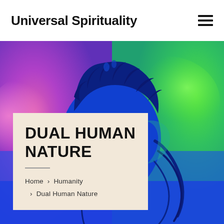Universal Spirituality
[Figure (illustration): Colorful gradient illustration of a human silhouette/profile with blue, pink, purple, and green gradients. The left half background is pink/magenta with a purple hue, the right half is bright green. A blue silhouette of a head with curly hair and flowing strands is centered.]
DUAL HUMAN NATURE
Home > Humanity > Dual Human Nature